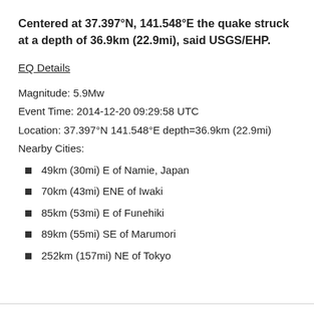Centered at 37.397°N, 141.548°E the quake struck at a depth of 36.9km (22.9mi), said USGS/EHP.
EQ Details
Magnitude: 5.9Mw
Event Time: 2014-12-20 09:29:58 UTC
Location: 37.397°N 141.548°E depth=36.9km (22.9mi)
Nearby Cities:
49km (30mi) E of Namie, Japan
70km (43mi) ENE of Iwaki
85km (53mi) E of Funehiki
89km (55mi) SE of Marumori
252km (157mi) NE of Tokyo